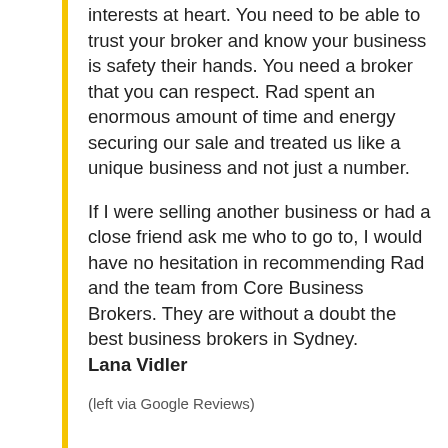interests at heart. You need to be able to trust your broker and know your business is safety their hands. You need a broker that you can respect. Rad spent an enormous amount of time and energy securing our sale and treated us like a unique business and not just a number.
If I were selling another business or had a close friend ask me who to go to, I would have no hesitation in recommending Rad and the team from Core Business Brokers. They are without a doubt the best business brokers in Sydney.
Lana Vidler
(left via Google Reviews)